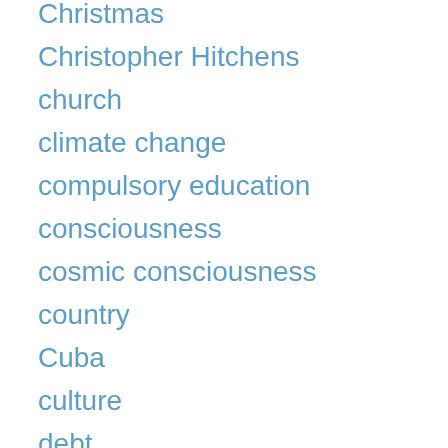Christmas
Christopher Hitchens
church
climate change
compulsory education
consciousness
cosmic consciousness
country
Cuba
culture
debt
debt relief
decision theory
democracy
disease
Donald Trump
economic crisis
education
Edward Snowden
Einstein